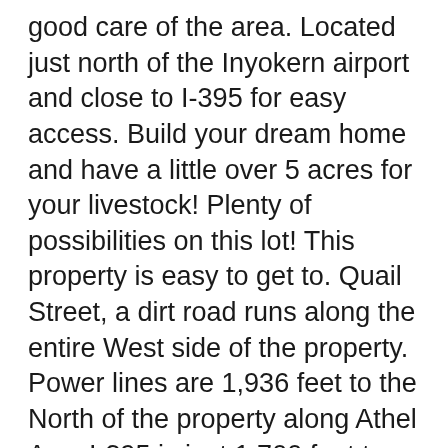good care of the area.  Located just north of the Inyokern airport and close to I-395 for easy access.  Build your dream home and have a little over 5 acres for your livestock! Plenty of possibilities on this lot!  This property is easy to get to.  Quail Street, a dirt road runs along the entire West side of the property.  Power lines are 1,936 feet to the North of the property along Athel Ave.  I-395 is just 1,700 feet to East of the property.
Inyokern is just 2.3 miles South for a quick trip to grab supplies.  There are a few restaurants in town. Ace hardware is there and the home depot is a little further in Ridgecrest.  Enjoy the spectacular Sierra